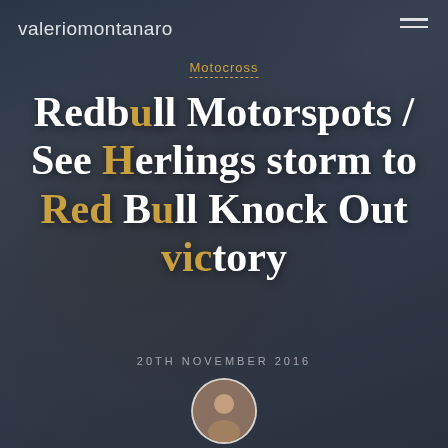[Figure (photo): Background photo of a motocross rider wearing a Red Bull beanie and face covering, with a dark blue-grey overlay]
valeriomontanaro
Motocross
Redbull Motorspots / See Herlings storm to Red Bull Knock Out victory
20TH NOVEMBER 2016
[Figure (photo): Circular avatar photo of Valerio Montanaro]
Valerio Montanaro